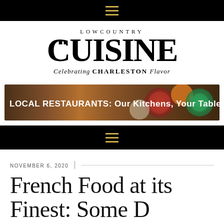[Figure (logo): Lowcountry Cuisine logo — large serif CUISINE text with LOWCOUNTRY above and 'Celebrating CHARLESTON Flavor' below]
[Figure (photo): Banner advertisement with food bowls photo: 'LOCAL RESTAURANTS: Our Kitchens, Your Table']
NOVEMBER 6, 2020
French Food at its Finest: Some D